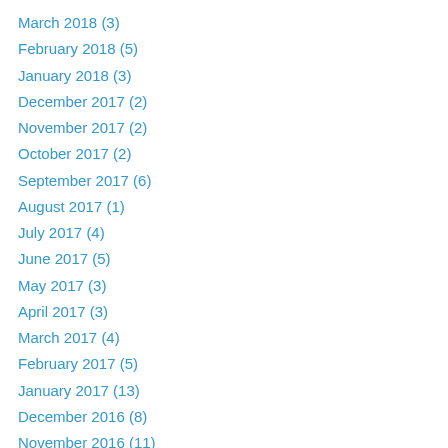March 2018 (3)
February 2018 (5)
January 2018 (3)
December 2017 (2)
November 2017 (2)
October 2017 (2)
September 2017 (6)
August 2017 (1)
July 2017 (4)
June 2017 (5)
May 2017 (3)
April 2017 (3)
March 2017 (4)
February 2017 (5)
January 2017 (13)
December 2016 (8)
November 2016 (11)
October 2016 (11)
September 2016 (5)
August 2016 (5)